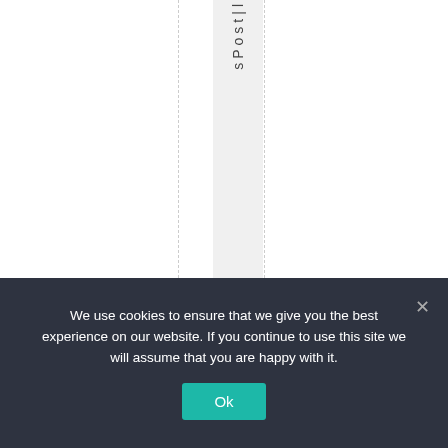sPostll
205 comments to Australian grid
We use cookies to ensure that we give you the best experience on our website. If you continue to use this site we will assume that you are happy with it.